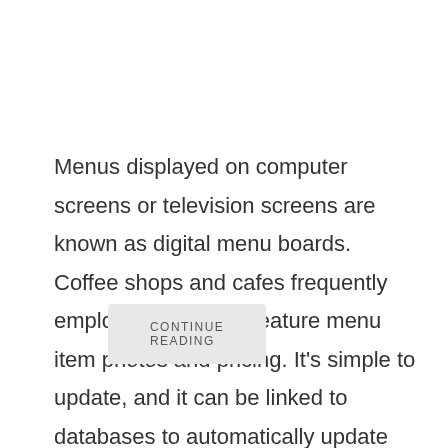Menus displayed on computer screens or television screens are known as digital menu boards. Coffee shops and cafes frequently employ these. They feature menu item photos and pricing. It's simple to update, and it can be linked to databases to automatically update boards in a matter of minutes. In ...
CONTINUE READING